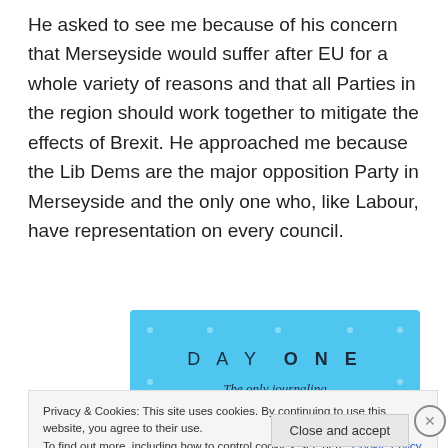He asked to see me because of his concern that Merseyside would suffer after EU for a whole variety of reasons and that all Parties in the region should work together to mitigate the effects of Brexit. He approached me because the Lib Dems are the major opposition Party in Merseyside and the only one who, like Labour, have representation on every council.
[Figure (other): Advertisement banner with sky-blue background showing 'DAY ONE' in spaced letters and subtitle 'The only journaling app you'll ever need.']
Privacy & Cookies: This site uses cookies. By continuing to use this website, you agree to their use.
To find out more, including how to control cookies, see here: Cookie Policy